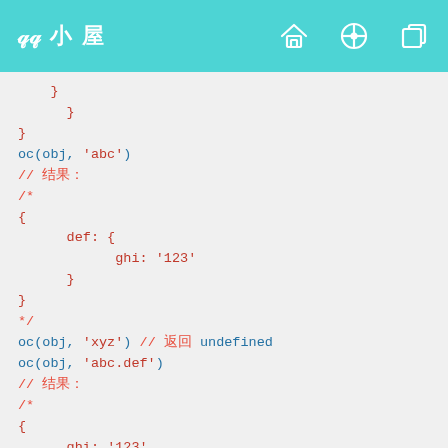小屋 [home icon] [compass icon] [copy icon]
}
    }
}
oc(obj, 'abc')
// 结果:
/*
{
    def: {
        ghi: '123'
    }
}
*/
oc(obj, 'xyz') // 返回 undefined
oc(obj, 'abc.def')
// 结果:
/*
{
    ghi: '123'
}
*/